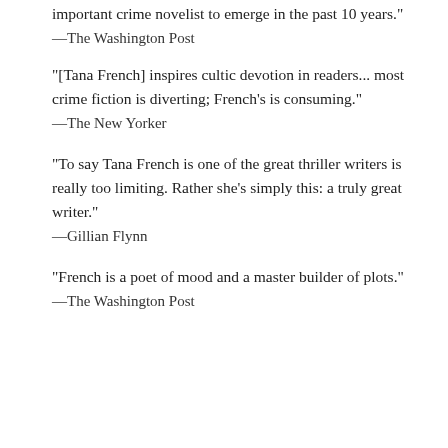important crime novelist to emerge in the past 10 years."
—The Washington Post
"[Tana French] inspires cultic devotion in readers... most crime fiction is diverting; French's is consuming."
—The New Yorker
“To say Tana French is one of the great thriller writers is really too limiting. Rather she’s simply this: a truly great writer.”
—Gillian Flynn
“French is a poet of mood and a master builder of plots.”
—The Washington Post